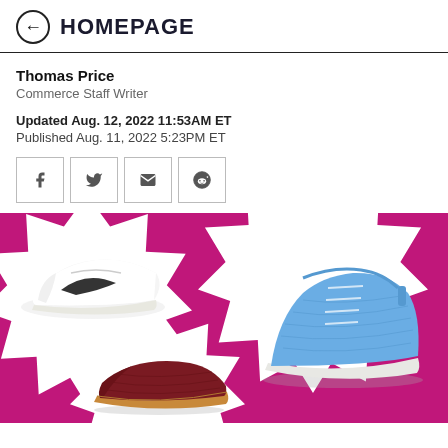← HOMEPAGE
Thomas Price
Commerce Staff Writer
Updated Aug. 12, 2022 11:53AM ET
Published Aug. 11, 2022 5:23PM ET
[Figure (infographic): Social share buttons: Facebook, Twitter, Email, Reddit]
[Figure (photo): Hero image with magenta/pink background featuring three sneakers in comic-book starburst frames: a white Nike high-top, a blue knitted high-top, and a dark red low-top sneaker]